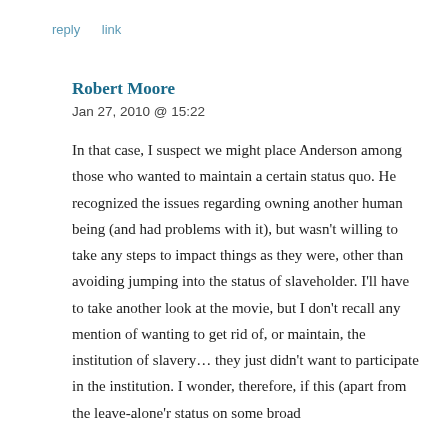reply   link
Robert Moore
Jan 27, 2010 @ 15:22
In that case, I suspect we might place Anderson among those who wanted to maintain a certain status quo. He recognized the issues regarding owning another human being (and had problems with it), but wasn't willing to take any steps to impact things as they were, other than avoiding jumping into the status of slaveholder. I'll have to take another look at the movie, but I don't recall any mention of wanting to get rid of, or maintain, the institution of slavery… they just didn't want to participate in the institution. I wonder, therefore, if this (apart from the leave-alone'r status on some broad